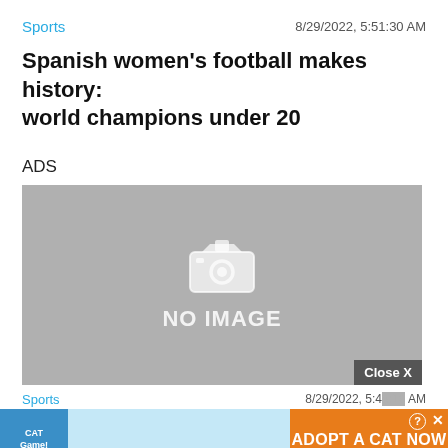Sports    8/29/2022, 5:51:30 AM
Spanish women's football makes history: world champions under 20
ADS
[Figure (photo): Gray placeholder image with camera icon and NO IMAGE text]
Sports    8/29/2022, 5:45:18 AM
[Figure (advertisement): Cat game advertisement banner with 'ADOPT A CAT NOW' text]